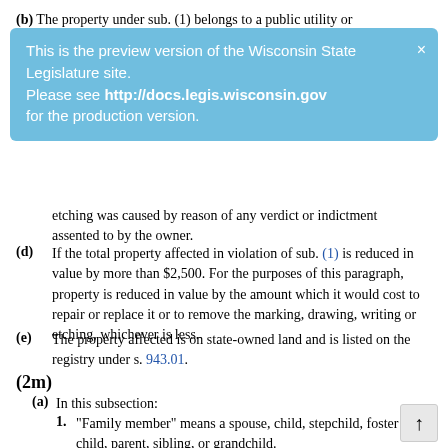(b) The property under sub. (1) belongs to a public utility or
[Figure (infographic): Light blue banner overlay: 'This is the preview version of the Wisconsin State Legislature site. Please see http://docs.legis.wisconsin.gov for the production version.' with an X close button in the top right corner.]
etching was caused by reason of any verdict or indictment assented to by the owner.
(d) If the total property affected in violation of sub. (1) is reduced in value by more than $2,500. For the purposes of this paragraph, property is reduced in value by the amount which it would cost to repair or replace it or to remove the marking, drawing, writing or etching, whichever is less.
(e) The property affected is on state-owned land and is listed on the registry under s. 943.01.
(2m)
(a) In this subsection:
1. “Family member” means a spouse, child, stepchild, foster child, parent, sibling, or grandchild.
2. “Witness” has the meaning given in s. 940.41 (3).
(b) Whoever does any of the following is guilty of a Class I felony:
1. Intentionally marks, draws or writes with paint, ink or another substance on or intentionally etches into, or